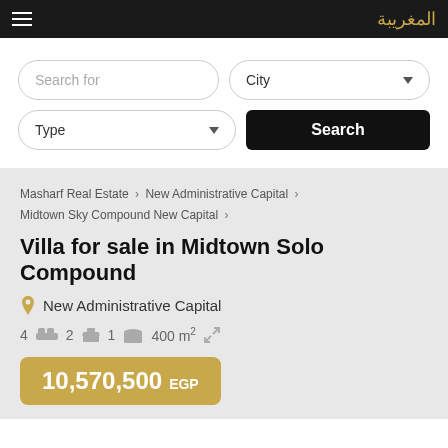المغريبة (Arabic logo text)
[Figure (screenshot): Search interface with Search for input, City dropdown, Type dropdown, and Search button]
Masharf Real Estate > New Administrative Capital > Midtown Sky Compound New Capital >
Villa for sale in Midtown Solo Compound
New Administrative Capital
4 [bed] 2 [bath] 1 [garage] 400 m²
10,570,500 EGP